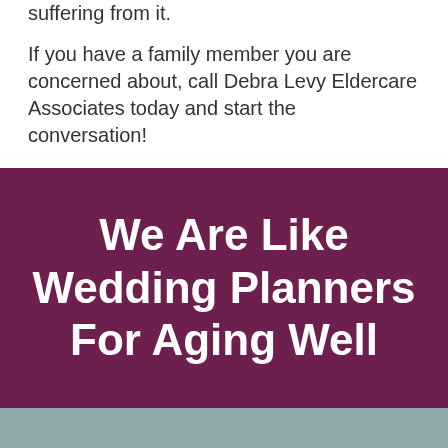suffering from it.
If you have a family member you are concerned about, call Debra Levy Eldercare Associates today and start the conversation!
We Are Like Wedding Planners For Aging Well